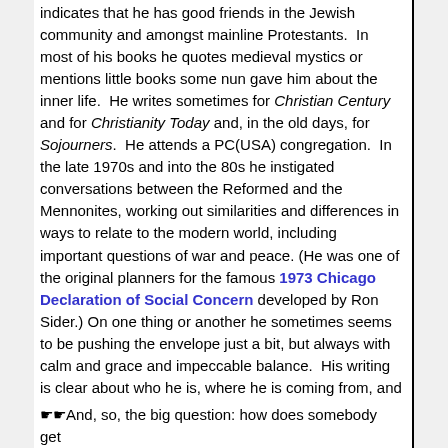indicates that he has good friends in the Jewish community and amongst mainline Protestants.  In most of his books he quotes medieval mystics or mentions little books some nun gave him about the inner life.  He writes sometimes for Christian Century and for Christianity Today and, in the old days, for Sojourners.  He attends a PC(USA) congregation.  In the late 1970s and into the 80s he instigated conversations between the Reformed and the Mennonites, working out similarities and differences in ways to relate to the modern world, including important questions of war and peace. (He was one of the original planners for the famous 1973 Chicago Declaration of Social Concern developed by Ron Sider.) On one thing or another he sometimes seems to be pushing the envelope just a bit, but always with calm and grace and impeccable balance.  His writing is clear about who he is, where he is coming from, and yet is generous and open to others.  He is Kuyperian to his core yet delightfully ecumenical. Did I say I want to be like him when I grow up?
☛☛And, so, the big question: how does somebody get